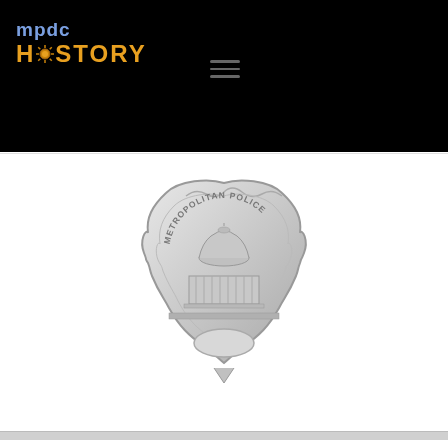mpdc HISTORY
[Figure (photo): Silver Metropolitan Police badge with engraved US Capitol building and text METROPOLITAN POLICE arched at top, blank oval at bottom]
[Figure (photo): Partial view of a second Metropolitan Police badge, bronze/gold colored, showing ROPOLITAN POL text arched at top]